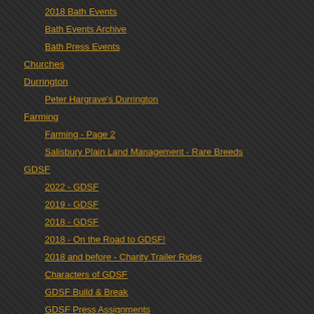2018 Bath Events
Bath Events Archive
Bath Press Events
Churches
Durrington
Peter Hargrave's Durrington
Farming
Farming - Page 2
Salisbury Plain Land Management - Rare Breeds
GDSF
2022 - GDSF
2019 - GDSF
2018 - GDSF
2018 - On the Road to GDSF!
2018 and before - Charity Trailer Rides
Characters of GDSF
GDSF Build & Break
GDSF Press Assignments
On the Road to Dorset!
Rollers & World Record Attempt